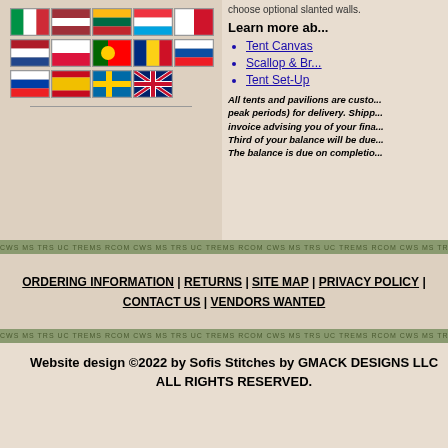[Figure (illustration): Grid of European country flags: Italy, Latvia, Lithuania, Luxembourg, Malta, Netherlands, Poland, Portugal, Romania, Slovakia, Slovenia, Spain, Sweden, United Kingdom]
choose optional slanted walls.
Learn more ab...
Tent Canvas
Scallop & Br...
Tent Set-Up
All tents and pavilions are custo... peak periods) for delivery. Shipp... invoice advising you of your fina... Third of your balance will be due... The balance is due on completio...
ORDERING INFORMATION | RETURNS | SITE MAP | PRIVACY POLICY | CONTACT US | VENDORS WANTED
Website design ©2022 by Sofis Stitches by GMACK DESIGNS LLC
ALL RIGHTS RESERVED.